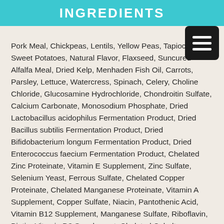INGREDIENTS
Pork Meal, Chickpeas, Lentils, Yellow Peas, Tapioca, Sweet Potatoes, Natural Flavor, Flaxseed, Suncured Alfalfa Meal, Dried Kelp, Menhaden Fish Oil, Carrots, Parsley, Lettuce, Watercress, Spinach, Celery, Choline Chloride, Glucosamine Hydrochloride, Chondroitin Sulfate, Calcium Carbonate, Monosodium Phosphate, Dried Lactobacillus acidophilus Fermentation Product, Dried Bacillus subtilis Fermentation Product, Dried Bifidobacterium longum Fermentation Product, Dried Enterococcus faecium Fermentation Product, Chelated Zinc Proteinate, Vitamin E Supplement, Zinc Sulfate, Selenium Yeast, Ferrous Sulfate, Chelated Copper Proteinate, Chelated Manganese Proteinate, Vitamin A Supplement, Copper Sulfate, Niacin, Pantothenic Acid, Vitamin B12 Supplement, Manganese Sulfate, Riboflavin, Biotin, Vitamin D3 Supplement, Chelated Cobalt Proteinate, Thiamine Mononitrate, Folic Acid, Calcium Iodate.